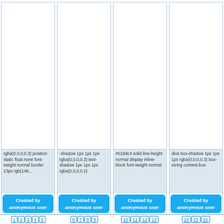[Figure (screenshot): Four card columns each containing: a white empty top area, a light blue CSS property text block, a blue 'Created by anonymous user' button, and a row of blue pagination numbers below.]
rgba(0,0,0,0.3) position static float none font-weight normal border 13px rgb(148...
-shadow 1px 1px 1px rgba(0,0,0,0.3) text-shadow 1px 1px 1px rgba(0,0,0,0.2)
#018dc4 solid line-height normal display inline-block font-weight normal
dius box-shadow 1px 1px 1px rgba(0,0,0,0.3) box-sizing content-box